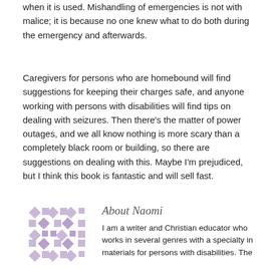when it is used.  Mishandling of emergencies is not with malice; it is because no one knew what to do both during the emergency and afterwards.
Caregivers for persons who are homebound will find suggestions for keeping their charges safe, and anyone working with persons with disabilities will find tips on dealing with seizures.  Then there’s the matter of power outages, and we all know nothing is more scary than a completely black room or building, so there are suggestions on dealing with this. Maybe I’m prejudiced, but I think this book is fantastic and will sell fast.
[Figure (logo): Decorative geometric/quilt-pattern icon in muted purple/lavender tones]
About Naomi
I am a writer and Christian educator who works in several genres with a specialty in materials for persons with disabilities. The